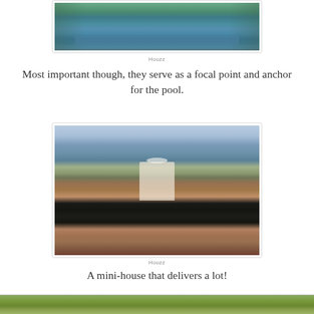[Figure (photo): Aerial view of a rectangular lap pool surrounded by green lawn]
Houzz
Most important though, they serve as a focal point and anchor for the pool.
[Figure (photo): Outdoor pool area with brick patio, pergola, pool house gazebo, and lush garden walls]
Houzz
A mini-house that delivers a lot!
[Figure (photo): Garden landscape with green foliage and trees]